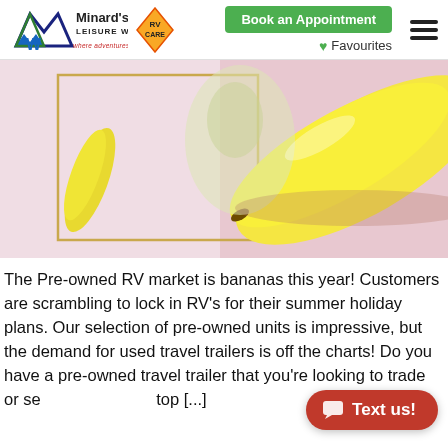Minard's Leisure World — where adventures begin! | RV Care | Book an Appointment | Favourites
[Figure (photo): Close-up photo of yellow bananas with a pink background, used as a promotional banner image for a pre-owned RV article.]
The Pre-owned RV market is bananas this year! Customers are scrambling to lock in RV's for their summer holiday plans. Our selection of pre-owned units is impressive, but the demand for used travel trailers is off the charts! Do you have a pre-owned travel trailer that you're looking to trade or se top [...]